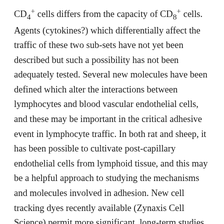CD4+ cells differs from the capacity of CD8+ cells. Agents (cytokines?) which differentially affect the traffic of these two sub-sets have not yet been described but such a possibility has not been adequately tested. Several new molecules have been defined which alter the interactions between lymphocytes and blood vascular endothelial cells, and these may be important in the critical adhesive event in lymphocyte traffic. In both rat and sheep, it has been possible to cultivate post-capillary endothelial cells from lymphoid tissue, and this may be a helpful approach to studying the mechanisms and molecules involved in adhesion. New cell tracking dyes recently available (Zynaxis Cell Science) permit more significant, long-term studies on the life span of lymphocyte sub-sets and their migratory status. In our experiments, labeled lymphocytes can be followed in vivo for many days. Trafficking patterns...